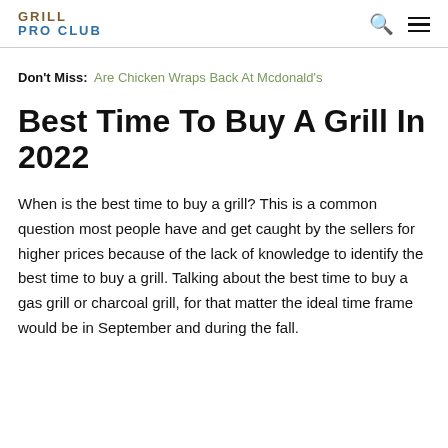GRILL PRO CLUB
Don't Miss: Are Chicken Wraps Back At Mcdonald's
Best Time To Buy A Grill In 2022
When is the best time to buy a grill? This is a common question most people have and get caught by the sellers for higher prices because of the lack of knowledge to identify the best time to buy a grill. Talking about the best time to buy a gas grill or charcoal grill, for that matter the ideal time frame would be in September and during the fall.